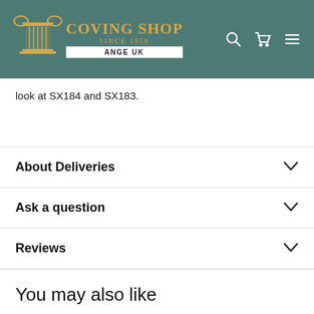COVING SHOP SINCE 1956 ANGE UK
look at SX184 and SX183.
About Deliveries
Ask a question
Reviews
You may also like
[Figure (other): Two product placeholder cards with green plus buttons]